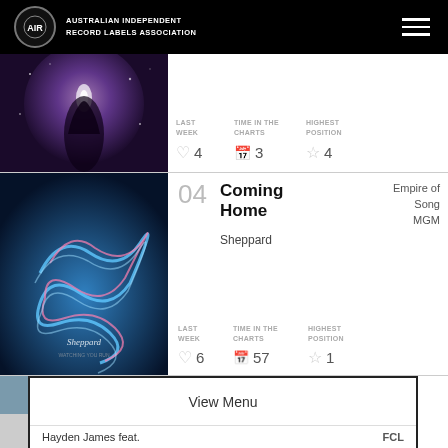Australian Independent Record Labels Association
[Figure (photo): Album art — cosmic/galaxy figure silhouette (partially cropped at top)]
LAST WEEK  TIME IN THE CHARTS  HIGHEST POSITION
4   3   4
[Figure (photo): Sheppard album art — blue background with glowing abstract shape]
04  Coming Home  Empire of Song MGM
Sheppard
LAST WEEK  TIME IN THE CHARTS  HIGHEST POSITION
6   57   1
View Menu
Hayden James feat.  FCL